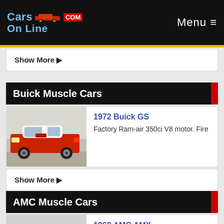CarsOnLine.com — Menu
Show More ▶
Buick Muscle Cars
[Figure (photo): 1972 Buick GS red muscle car, side view in parking lot]
1972 Buick GS
Factory Ram-air 350ci V8 motor. Fire
Show More ▶
AMC Muscle Cars
[Figure (photo): 1969 AMC AMX grey muscle car with red racing stripes, front 3/4 view]
1969 AMC AMX
Has a #s matching 390ci V8. 1 of 3,620.